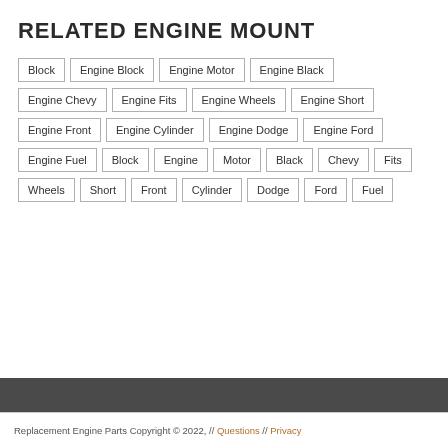RELATED ENGINE MOUNT
Block
Engine Block
Engine Motor
Engine Black
Engine Chevy
Engine Fits
Engine Wheels
Engine Short
Engine Front
Engine Cylinder
Engine Dodge
Engine Ford
Engine Fuel
Block
Engine
Motor
Black
Chevy
Fits
Wheels
Short
Front
Cylinder
Dodge
Ford
Fuel
Replacement Engine Parts Copyright © 2022, // Questions // Privacy